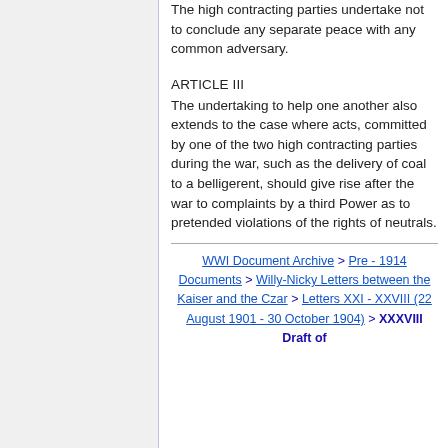The high contracting parties undertake not to conclude any separate peace with any common adversary.
ARTICLE III
The undertaking to help one another also extends to the case where acts, committed by one of the two high contracting parties during the war, such as the delivery of coal to a belligerent, should give rise after the war to complaints by a third Power as to pretended violations of the rights of neutrals.
WWI Document Archive > Pre - 1914 Documents > Willy-Nicky Letters between the Kaiser and the Czar > Letters XXI - XXVIII (22 August 1901 - 30 October 1904) > XXXVIII Draft of